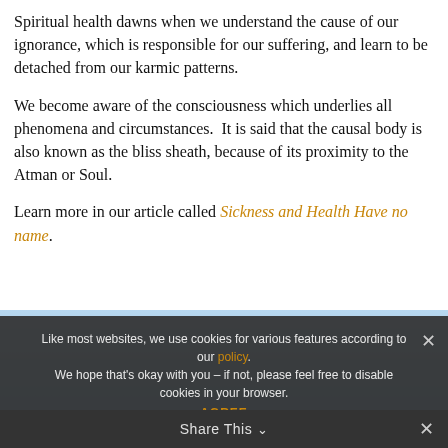Spiritual health dawns when we understand the cause of our ignorance, which is responsible for our suffering, and learn to be detached from our karmic patterns.
We become aware of the consciousness which underlies all phenomena and circumstances.  It is said that the causal body is also known as the bliss sheath, because of its proximity to the Atman or Soul.
Learn more in our article called Sickness and Health Have no name.
[Figure (photo): Light blue sky background image, partially visible]
Like most websites, we use cookies for various features according to our policy. We hope that's okay with you – if not, please feel free to disable cookies in your browser.
AGREE
Share This ∨